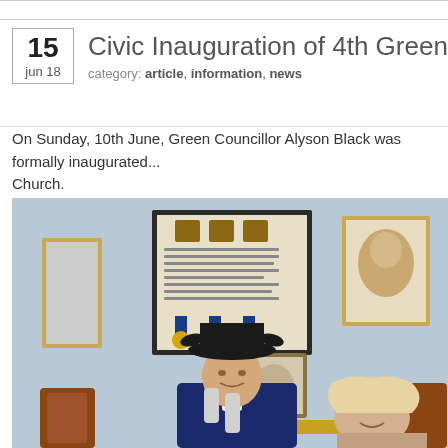Civic Inauguration of 4th Green Deputy M
category: article, information, news
On Sunday, 10th June, Green Councillor Alyson Black was formally inaugurated... Church.
[Figure (photo): Photo of a person wearing a tricorn hat and period civic costume, standing in front of framed certificates and portraits on a blue-grey wall, with another person beside them]